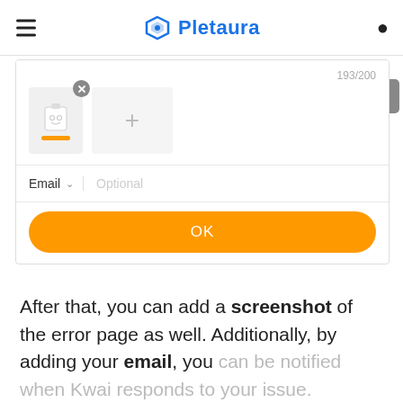Pletaura
[Figure (screenshot): Mobile app screenshot showing an image upload section with a robot/document thumbnail, an add (+) image button, a counter showing 193/200, an Email dropdown field with Optional placeholder, and an orange OK button.]
After that, you can add a screenshot of the error page as well. Additionally, by adding your email, you can be notified when Kwai responds to your issue.